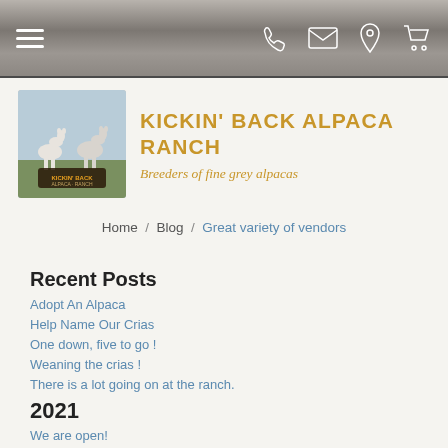Navigation bar with hamburger menu and icons: phone, email, location, cart
[Figure (logo): Kickin' Back Alpaca Ranch logo with two alpacas]
KICKIN' BACK ALPACA RANCH
Breeders of fine grey alpacas
Home / Blog / Great variety of vendors
Recent Posts
Adopt An Alpaca
Help Name Our Crias
One down, five to go !
Weaning the crias !
There is a lot going on at the ranch.
2021
We are open!
2020
No Open Barn This Year
First Cria of the Season, Tyrone
We Are Open Again